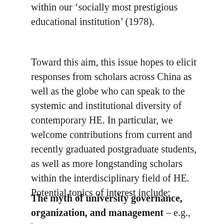within our ‘socially most prestigious educational institution’ (1978).
Toward this aim, this issue hopes to elicit responses from scholars across China as well as the globe who can speak to the systemic and institutional diversity of contemporary HE. In particular, we welcome contributions from current and recently graduated postgraduate students, as well as more longstanding scholars within the interdisciplinary field of HE. Potential topics of interest include:
The myth of university governance, organization, and management – e.g., how